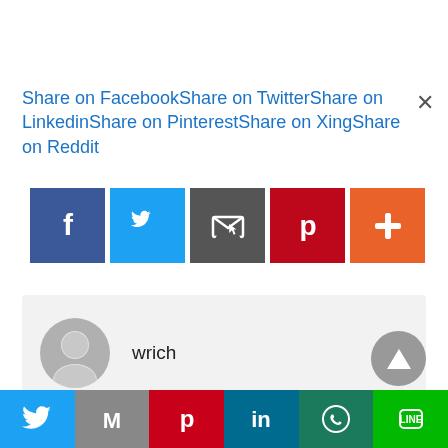Share on FacebookShare on TwitterShare on LinkedinShare on PinterestShare on XingShare on Reddit
[Figure (infographic): Row of 5 social media share icon buttons: Facebook (blue), Twitter (light blue), Email/Share (dark grey), Pinterest (red), More/Plus (orange)]
[Figure (infographic): User profile card with grey avatar icon and username 'wrich']
[Figure (infographic): Grey circular scroll-to-top button with upward triangle, with NEXT label below]
[Figure (infographic): Bottom share bar with 6 colored buttons: Twitter (blue), Gmail (grey M), Pinterest (red), LinkedIn (teal), WhatsApp (dark green), LINE (green)]